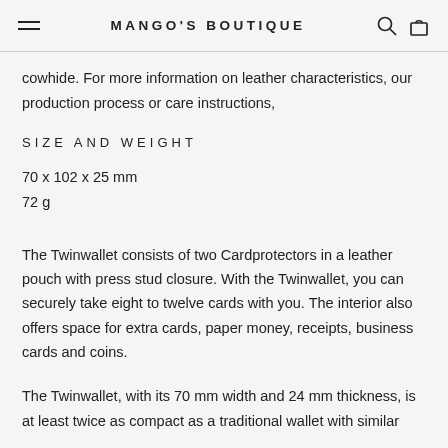MANGO'S BOUTIQUE
cowhide. For more information on leather characteristics, our production process or care instructions,
SIZE AND WEIGHT
70 x 102 x 25 mm
72 g
The Twinwallet consists of two Cardprotectors in a leather pouch with press stud closure. With the Twinwallet, you can securely take eight to twelve cards with you. The interior also offers space for extra cards, paper money, receipts, business cards and coins.
The Twinwallet, with its 70 mm width and 24 mm thickness, is at least twice as compact as a traditional wallet with similar